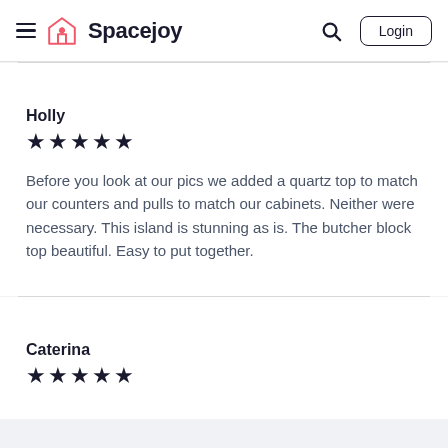Spacejoy — Login
Holly
★★★★★
Before you look at our pics we added a quartz top to match our counters and pulls to match our cabinets. Neither were necessary. This island is stunning as is. The butcher block top beautiful. Easy to put together.
Caterina
★★★★★